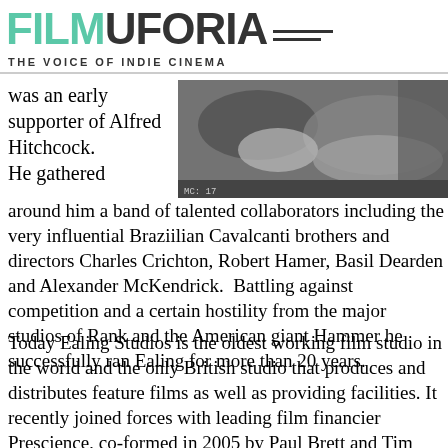FILMUFORIA THE VOICE OF INDIE CINEMA
was an early supporter of Alfred Hitchcock. He gathered around him a band of talented collaborators including the very influential Braziilian Cavalcanti brothers and directors Charles Crichton, Robert Hamer, Basil Dearden and Alexander McKendrick.  Battling against competition and a certain hostility from the major studios of Rank and the American giant Hammer he successfully ran Ealing for more than 20 years.
[Figure (photo): Black and white film still showing two people lying down, appears to be from a classic film.]
Today Ealing Studios is the oldest working film studio in the world and the only British studio that produces and distributes feature films as well as providing facilities. It recently joined forces with leading film financier Prescience, co-formed in 2005 by Paul Brett and Tim Smith, to create the new one-stop international sales company 'Ealing Metro'.  Prescience uniquely